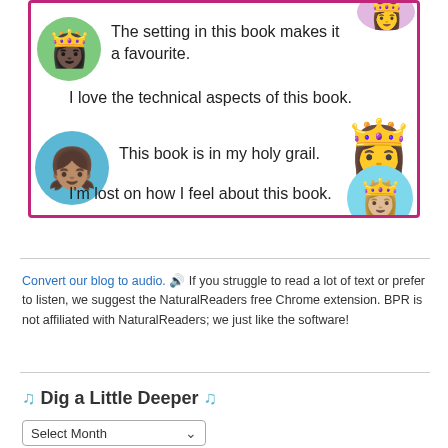[Figure (illustration): Pink-bordered box containing Disney princess avatars (Tiana, Rapunzel, Moana, Elsa) with book review phrases]
The setting in this book makes it a favourite.
I love the technical aspects of this book.
This book is in my holy grail.
I'm lost on how I feel about this book.
Convert our blog to audio. 🔊 If you struggle to read a lot of text or prefer to listen, we suggest the NaturalReaders free Chrome extension. BPR is not affiliated with NaturalReaders; we just like the software!
🎵 Dig a Little Deeper 🎵